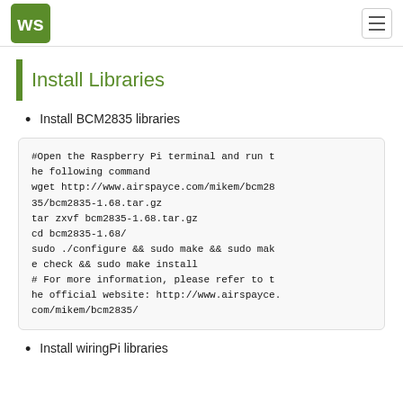WS logo and navigation menu
Install Libraries
Install BCM2835 libraries
#Open the Raspberry Pi terminal and run the following command
wget http://www.airspayce.com/mikem/bcm2835/bcm2835-1.68.tar.gz
tar zxvf bcm2835-1.68.tar.gz
cd bcm2835-1.68/
sudo ./configure && sudo make && sudo make check && sudo make install
# For more information, please refer to the official website: http://www.airspayce.com/mikem/bcm2835/
Install wiringPi libraries